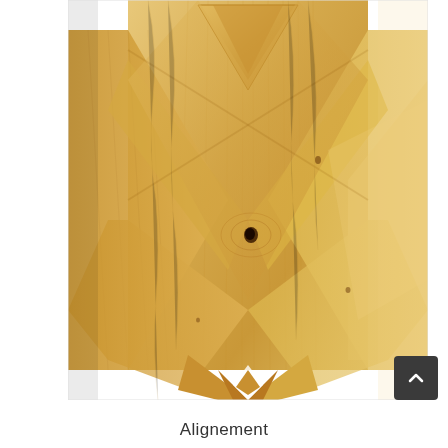[Figure (photo): Close-up photograph of a wooden carved sculpture showing light-colored natural pine or cedar wood with visible grain patterns. The carving features geometric chevron/V-shaped relief cuts forming a layered pattern, with the lower portion showing wing-like or cloak-like flowing forms. A small dark knot hole is visible near the center.]
Alignement